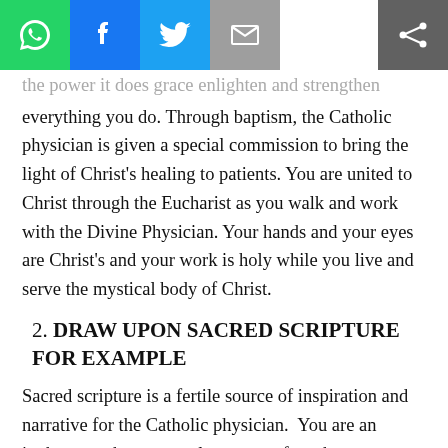[Figure (other): Social media sharing toolbar with icons: WhatsApp (green), Facebook (blue), Twitter (light blue), Email (grey), Share (dark grey)]
the power it does grace enlighten and strengthen everything you do. Through baptism, the Catholic physician is given a special commission to bring the light of Christ's healing to patients. You are united to Christ through the Eucharist as you walk and work with the Divine Physician. Your hands and your eyes are Christ's and your work is holy while you live and serve the mystical body of Christ.
2. DRAW UPON SACRED SCRIPTURE FOR EXAMPLE
Sacred scripture is a fertile source of inspiration and narrative for the Catholic physician.  You are an innkeeper when you welcome or refuse the vulnerable, ill, and injured into your offices. Physicians are tenants in the